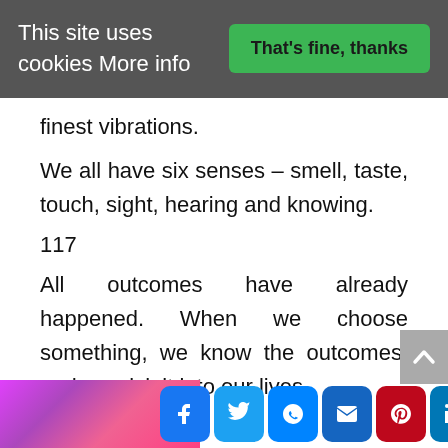This site uses cookies More info
finest vibrations.
We all have six senses – smell, taste, touch, sight, hearing and knowing.
117
All outcomes have already happened. When we choose something, we know the outcomes, and we pick it into our lives.
[Figure (other): Social media share buttons: Facebook, Twitter, Messenger, Email, Pinterest, LinkedIn, Reddit, and a plus/share button. A colorful photo strip is partially visible at the bottom left.]